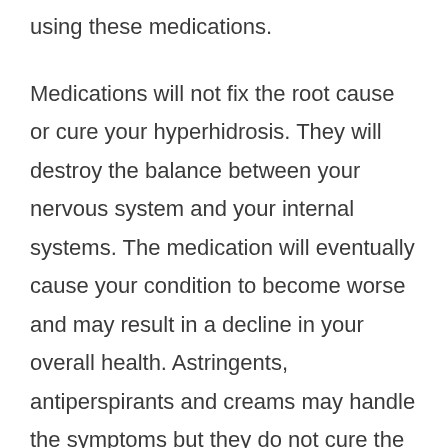using these medications.
Medications will not fix the root cause or cure your hyperhidrosis. They will destroy the balance between your nervous system and your internal systems. The medication will eventually cause your condition to become worse and may result in a decline in your overall health. Astringents, antiperspirants and creams may handle the symptoms but they do not cure the root cause of the condition.
The general name for every product purchased over the counter or through a prescription is a topical treatment. You apply these to your skin as opposed to taking them orally. Miles Dawson firmly believes